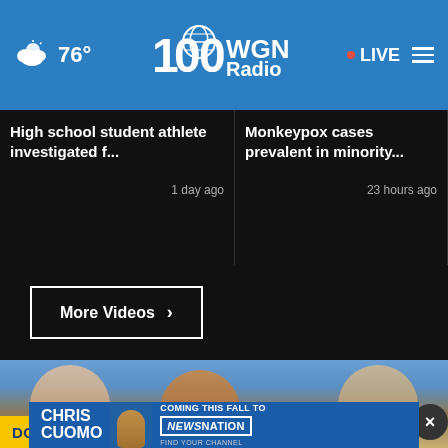76° WGN Radio · LIVE
High school student athlete investigated f... 1 day ago
Monkeypox cases prevalent in minority... 23 hours ago
Miami move
More Videos ›
[Figure (photo): Two children in car seats with a teddy bear between them; advertisement overlay reading DON'T SWEAT with a close X button]
[Figure (photo): Chris Cuomo advertisement banner: CHRIS CUOMO COMING THIS FALL TO NEWSNATION FIND YOUR CHANNEL]